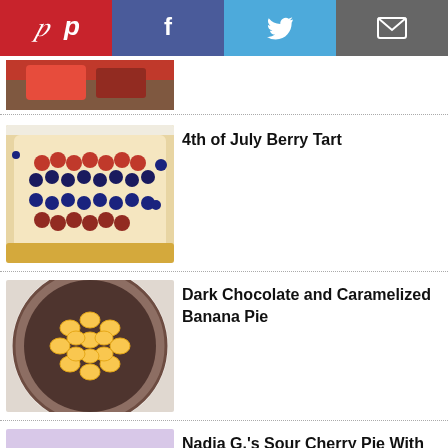[Figure (other): Social sharing buttons bar: Pinterest (red), Facebook (blue), Twitter (light blue), Email (grey)]
[Figure (photo): Partial image of a food item, top of page]
4th of July Berry Tart
[Figure (photo): Photo of a rectangular berry tart with raspberries and blueberries in a pastry crust]
Dark Chocolate and Caramelized Banana Pie
[Figure (photo): Photo of a dark chocolate pie topped with caramelized banana slices in a round crust]
Nadia G.'s Sour Cherry Pie With Bitters
[Figure (photo): Partial photo of a cherry pie with lattice crust on a purple cloth]